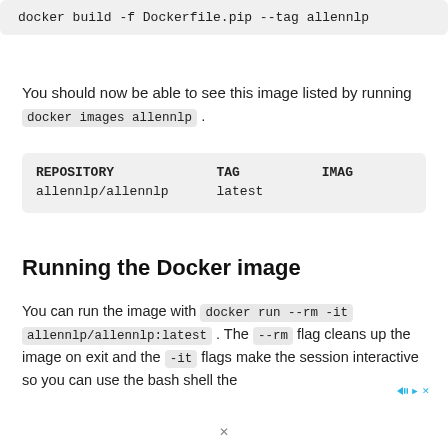docker build -f Dockerfile.pip --tag allennlp
You should now be able to see this image listed by running docker images allennlp .
| REPOSITORY | TAG | IMAGE |
| --- | --- | --- |
| allennlp/allennlp | latest |  |
Running the Docker image
You can run the image with docker run --rm -it allennlp/allennlp:latest . The --rm flag cleans up the image on exit and the -it flags make the session interactive so you can use the bash shell the